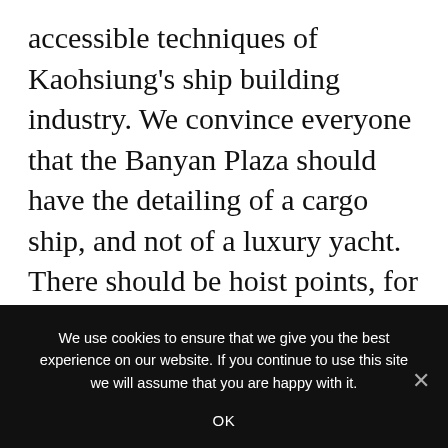accessible techniques of Kaohsiung's ship building industry. We convince everyone that the Banyan Plaza should have the detailing of a cargo ship, and not of a luxury yacht. There should be hoist points, for example, so that lights, banners and fabric can be hung. We don't want to aim for a perfectly smooth façade – we want to employ the ship builders to do what they do best: create a durable, long-lasting skin on a scale that some contractors would be intimidated by. We ultimately want the building to look like a ship on the land.
We use cookies to ensure that we give you the best experience on our website. If you continue to use this site we will assume that you are happy with it.
OK